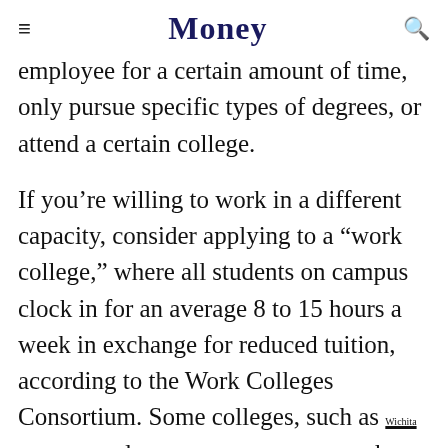Money
employee for a certain amount of time, only pursue specific types of degrees, or attend a certain college.
If you’re willing to work in a different capacity, consider applying to a “work college,” where all students on campus clock in for an average 8 to 15 hours a week in exchange for reduced tuition, according to the Work Colleges Consortium. Some colleges, such as Wichita State University, and The University of Kentucky, offer legacy discounts, where you can get a reduced tuition rate if a parent or grandparent has attended. If your